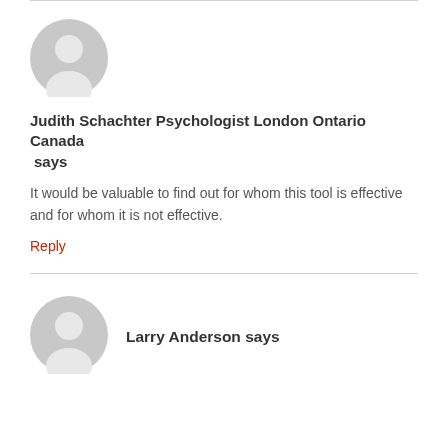[Figure (illustration): Gray default user avatar icon (silhouette of a person in a circle)]
Judith Schachter Psychologist London Ontario Canada says
It would be valuable to find out for whom this tool is effective and for whom it is not effective.
Reply
[Figure (illustration): Gray default user avatar icon (silhouette of a person in a circle)]
Larry Anderson says